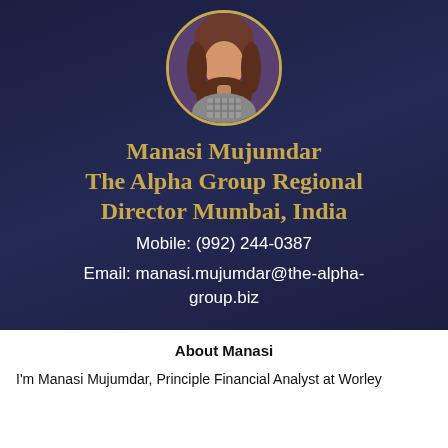[Figure (photo): Circular profile photo of a woman with long brown hair wearing a checked jacket, set against a dark navy background]
Manasi Mujumdar
The Alpha Group Regional Director Mumbai, India
Mobile: (992) 244-0387
Email: manasi.mujumdar@the-alpha-group.biz
About Manasi
I'm Manasi Mujumdar, Principle Financial Analyst at Worley